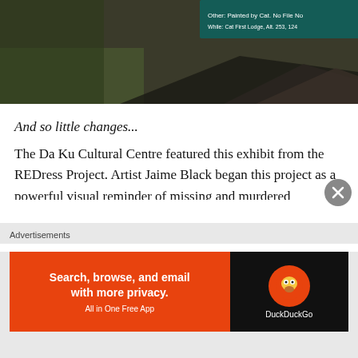[Figure (photo): Outdoor photo showing rocks, grass, and vegetation with a dark teal/green informational sign overlay in the upper right corner]
And so little changes...
The Da Ku Cultural Centre featured this exhibit from the REDress Project. Artist Jaime Black began this project as a powerful visual reminder of missing and murdered aboriginal women; red dresses hang in public galleries all across Canada.  Red is a sacred colour, and it also symbolizes blood. Twelve hundred women are confirmed
Advertisements
[Figure (screenshot): DuckDuckGo advertisement banner: orange left section reading 'Search, browse, and email with more privacy. All in One Free App' and black right section with DuckDuckGo logo]